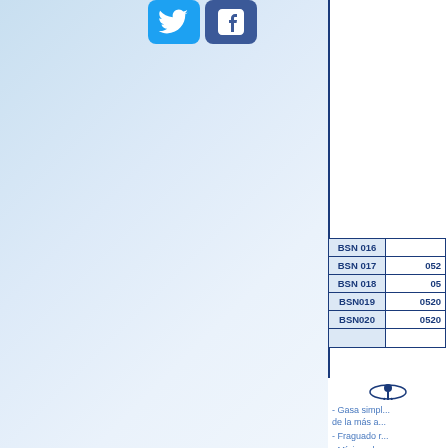[Figure (logo): Twitter and Facebook social media icons at top of left panel]
| Code | Value |
| --- | --- |
| BSN 016 |  |
| BSN 017 | 052 |
| BSN 018 | 05 |
| BSN019 | 0520 |
| BSN020 | 0520 |
|  |  |
[Figure (logo): Caduceus medical symbol with 'Proveedor Médico de Hospitales y...' circular text and 'Desde 19...' cursive banner with gold ribbon]
- Gasa simpl... de la más a... - Fraguado r... - Mínimo des...